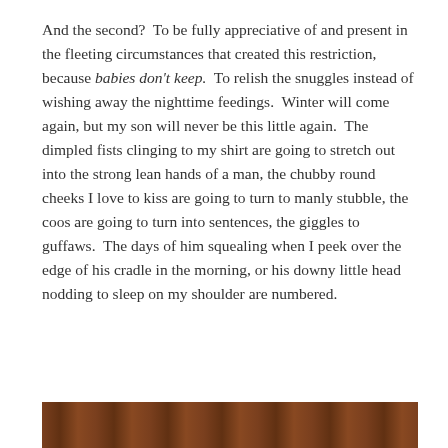And the second?  To be fully appreciative of and present in the fleeting circumstances that created this restriction, because babies don't keep.  To relish the snuggles instead of wishing away the nighttime feedings.  Winter will come again, but my son will never be this little again.  The dimpled fists clinging to my shirt are going to stretch out into the strong lean hands of a man, the chubby round cheeks I love to kiss are going to turn to manly stubble, the coos are going to turn into sentences, the giggles to guffaws.  The days of him squealing when I peek over the edge of his cradle in the morning, or his downy little head nodding to sleep on my shoulder are numbered.
[Figure (photo): Partial image strip at the bottom of the page showing a brown/wooden background, cropped.]